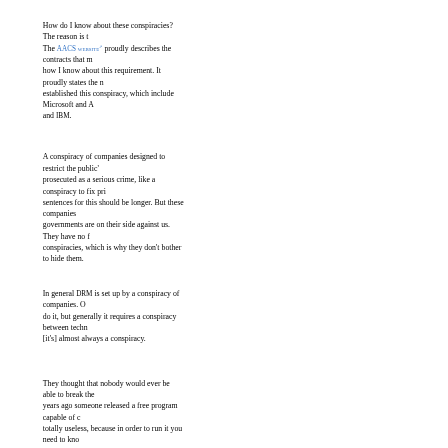How do I know about these conspiracies? The reason is the AACS website proudly describes the contracts that make how I know about this requirement. It proudly states the names of companies who established this conspiracy, which include Microsoft and A and IBM.
A conspiracy of companies designed to restrict the public' prosecuted as a serious crime, like a conspiracy to fix prices. The sentences for this should be longer. But these companies know that governments are on their side against us. They have no fear of these conspiracies, which is why they don't bother to hide them.
In general DRM is set up by a conspiracy of companies. One company could do it, but generally it requires a conspiracy between technologies. [it's] almost always a conspiracy.
They thought that nobody would ever be able to break the years ago someone released a free program capable of totally useless, because in order to run it you need to kno